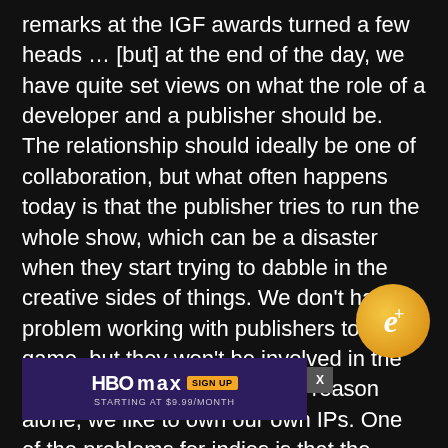remarks at the IGF awards turned a few heads … [but] at the end of the day, we have quite set views on what the role of a developer and a publisher should be. The relationship should ideally be one of collaboration, but what often happens today is that the publisher tries to run the whole show, which can be a disaster when they start trying to dabble in the creative sides of things. We don't have a problem working with publishers to sell a game, but they won't be involved in the creative process, and for that reason alone, we like to own our own IPs. One of the problems for indies is that the publishers aren't really interested – that's the bottom line – and it can be a real struggle to get yourselves noticed and taken seriously. When Diva released, we were big enough to self-publish in the U.K., but the [markets were] larger, and we just didn't [have the suc]cess story
[Figure (other): HBO Max advertisement banner with purple background, HBO Max logo, SIGN UP button, and 'STARTING AT $9.99/MONTH' text. Also shows a close X button and an e+ circular gold badge.]